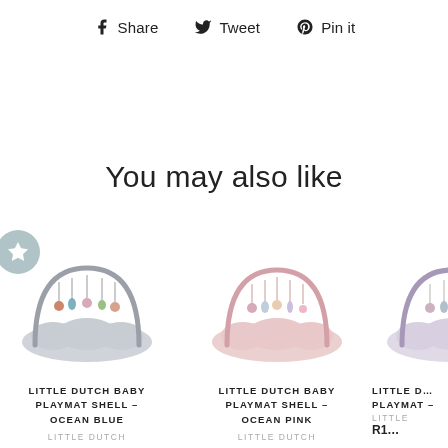Share  Tweet  Pin it
You may also like
[Figure (photo): Little Dutch Baby Playmat Shell in Ocean Blue - baby play gym with grey arch and hanging toys on a cloud-shaped grey mat]
LITTLE DUTCH BABY PLAYMAT SHELL – OCEAN BLUE
LITTLE DUTCH
[Figure (photo): Little Dutch Baby Playmat Shell in Ocean Pink - baby play gym with pink arch and hanging toys on a cloud-shaped pink mat]
LITTLE DUTCH BABY PLAYMAT SHELL – OCEAN PINK
LITTLE DUTCH
[Figure (photo): Little Dutch Baby Playmat (partial, cut off on right edge)]
LITTLE D… PLAYMAT –
LITTLE
R1…